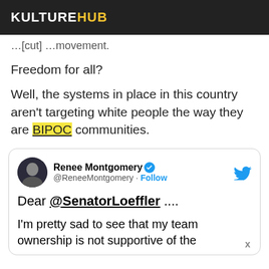KULTUREHUB
…[cut] …movement.
Freedom for all?
Well, the systems in place in this country aren't targeting white people the way they are BIPOC communities.
[Figure (screenshot): Embedded tweet from @ReneeMontgomery (Renee Montgomery, verified) saying: Dear @SenatorLoeffler .... I'm pretty sad to see that my team ownership is not supportive of the]
Dear @SenatorLoeffler ....
I'm pretty sad to see that my team ownership is not supportive of the